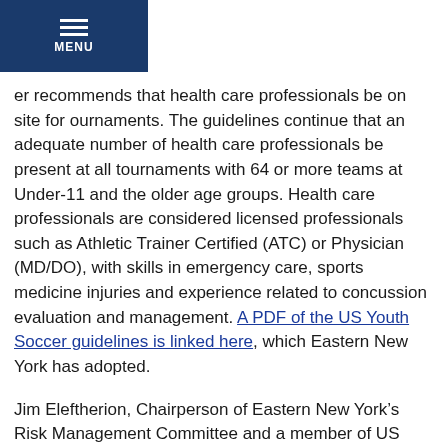MENU
er recommends that health care professionals be on site for ournaments. The guidelines continue that an adequate number of health care professionals be present at all tournaments with 64 or more teams at Under-11 and the older age groups. Health care professionals are considered licensed professionals such as Athletic Trainer Certified (ATC) or Physician (MD/DO), with skills in emergency care, sports medicine injuries and experience related to concussion evaluation and management. A PDF of the US Youth Soccer guidelines is linked here, which Eastern New York has adopted.
Jim Eleftherion, Chairperson of Eastern New York’s Risk Management Committee and a member of US Youth Soccer’s Risk Management Committee, commented, “I’m glad that US Soccer has taken the initiative here but the medical people who have examined the whole issue agree that heading alone does not cause brain injuries or concussions. They are also caused by player contact or contact with the ground. It’s nice to see that US Soccer continues to be very concerned about player safety.”